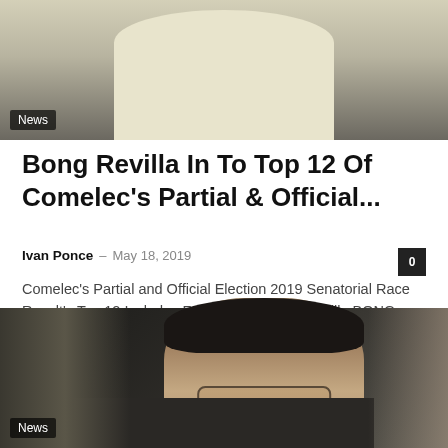[Figure (photo): Top portion of a person wearing a light-colored (cream/white) shirt, cropped at chest level, against a dark background. A 'News' badge overlays the bottom-left corner.]
Bong Revilla In To Top 12 Of Comelec’s Partial & Official...
Ivan Ponce – May 18, 2019
Comelec’s Partial and Official Election 2019 Senatorial Race Result’s Top 12 Includes Former Sen. Bong Revilla BONG REVILLA - Former Senator Ramon Revilla Jr. is...
[Figure (photo): Close-up photo of a middle-aged Asian man wearing glasses, with dark hair, looking to the side. He is wearing a dark jacket. A 'News' badge overlays the bottom-left corner.]